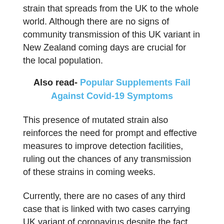strain that spreads from the UK to the whole world. Although there are no signs of community transmission of this UK variant in New Zealand coming days are crucial for the local population.
Also read- Popular Supplements Fail Against Covid-19 Symptoms
This presence of mutated strain also reinforces the need for prompt and effective measures to improve detection facilities, ruling out the chances of any transmission of these strains in coming weeks.
Currently, there are no cases of any third case that is linked with two cases carrying UK variant of coronavirus despite the fact that both these cases are identified in the same family. These cases were confirmed on Sunday and immediately